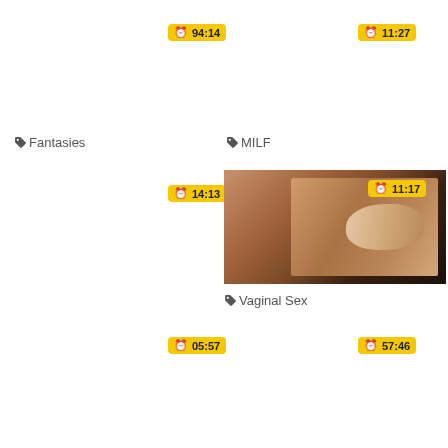94:14
11:27
Fantasies
MILF
14:13
[Figure (photo): Close-up photo of hands]
11:17
Vaginal Sex
05:57
57:46